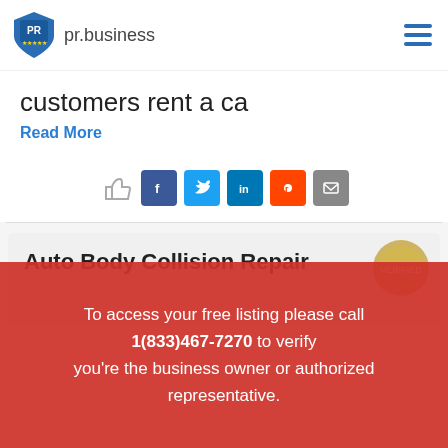pr.business
customers rent a ca
Read More
[Figure (other): Social sharing icons row: thumbs-up outline, Facebook (blue), Twitter (blue), LinkedIn (blue), Reddit (orange), Email (grey)]
Auto Body Collision Repair
To access your free listing please call 1(833)467-7270 to verify you're the business owner or authorized representative.